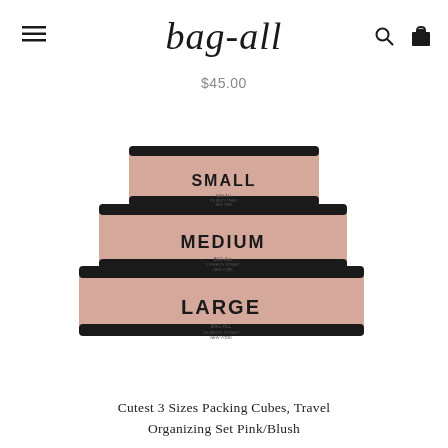bag-all
$45.00
[Figure (photo): Three pink/blush packing cubes stacked in ascending size order labeled SMALL, MEDIUM, and LARGE with black trim and black bold text, from the brand Bag-All.]
Cutest 3 Sizes Packing Cubes, Travel Organizing Set Pink/Blush